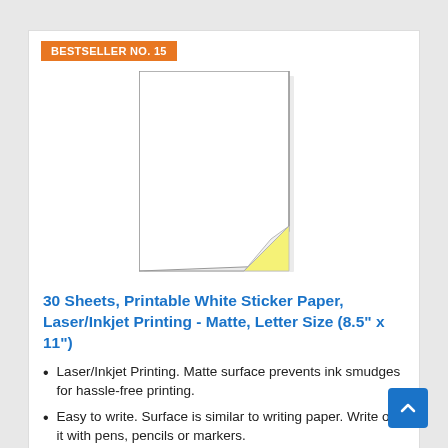BESTSELLER NO. 15
[Figure (illustration): White sticker paper sheet with bottom-right corner peeled up showing yellow adhesive backing]
30 Sheets, Printable White Sticker Paper, Laser/Inkjet Printing - Matte, Letter Size (8.5" x 11")
Laser/Inkjet Printing. Matte surface prevents ink smudges for hassle-free printing.
Easy to write. Surface is similar to writing paper. Write on it with pens, pencils or markers.
Self Adhesive. Just peel and paste! Sticks great